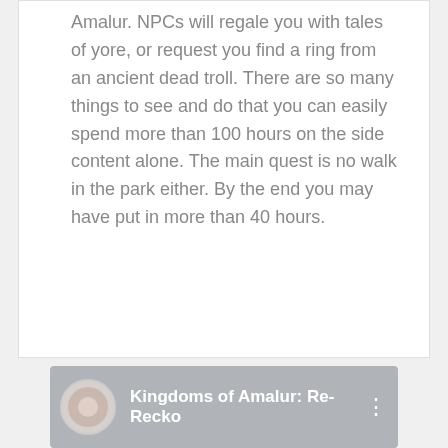Amalur. NPCs will regale you with tales of yore, or request you find a ring from an ancient dead troll. There are so many things to see and do that you can easily spend more than 100 hours on the side content alone. The main quest is no walk in the park either. By the end you may have put in more than 40 hours.
[Figure (screenshot): Bottom bar showing app/video thumbnail with avatar circle icon on left, title text 'Kingdoms of Amalur: Re-Recko' and three-dot menu icon on right, gray background]